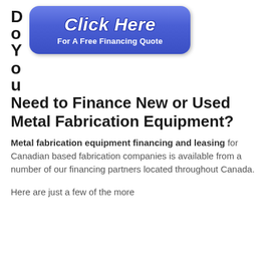[Figure (other): Blue rounded button with 'Click Here For A Free Financing Quote' text, displayed alongside vertical text letters D, o, Y]
Do You Need to Finance New or Used Metal Fabrication Equipment?
Metal fabrication equipment financing and leasing for Canadian based fabrication companies is available from a number of our financing partners located throughout Canada.
Here are just a few of the more